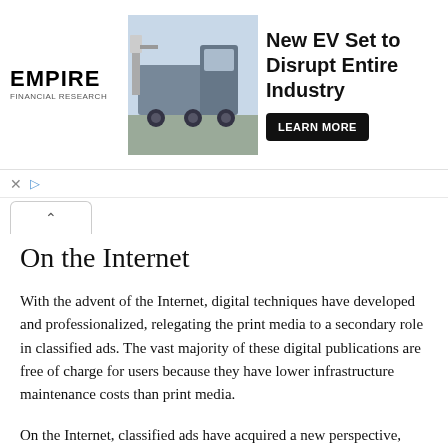[Figure (infographic): Empire Financial Research advertisement banner with logo, EV truck photo, headline 'New EV Set to Disrupt Entire Industry', and a 'LEARN MORE' button]
On the Internet
With the advent of the Internet, digital techniques have developed and professionalized, relegating the print media to a secondary role in classified ads. The vast majority of these digital publications are free of charge for users because they have lower infrastructure maintenance costs than print media.
On the Internet, classified ads have acquired a new perspective, people who were previously forced to pay to publish their classified ads in the